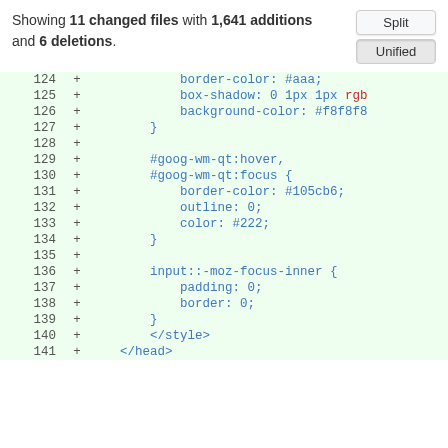Showing 11 changed files with 1,641 additions and 6 deletions.
[Figure (screenshot): Split/Unified toggle buttons in GitHub diff view]
| line | op | code |
| --- | --- | --- |
| 124 | + |             border-color: #aaa; |
| 125 | + |             box-shadow: 0 1px 1px rgb |
| 126 | + |             background-color: #f8f8f8 |
| 127 | + |         } |
| 128 | + |  |
| 129 | + |         #goog-wm-qt:hover, |
| 130 | + |         #goog-wm-qt:focus { |
| 131 | + |             border-color: #105cb6; |
| 132 | + |             outline: 0; |
| 133 | + |             color: #222; |
| 134 | + |         } |
| 135 | + |  |
| 136 | + |         input::-moz-focus-inner { |
| 137 | + |             padding: 0; |
| 138 | + |             border: 0; |
| 139 | + |         } |
| 140 | + |         </style> |
| 141 | + |     </head> |